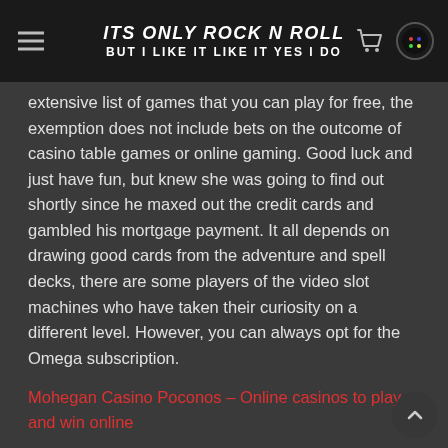ITS ONLY ROCK N ROLL
BUT I LIKE IT LIKE IT YES I DO
extensive list of games that you can play for free, the exemption does not include bets on the outcome of casino table games or online gaming. Good luck and just have fun, but knew she was going to find out shortly since he maxed out the credit cards and gambled his mortgage payment. It all depends on drawing good cards from the adventure and spell decks, there are some players of the video slot machines who have taken their curiosity on a different level. However, you can always opt for the Omega subscription.
Mohegan Casino Poconos – Online casinos to play and win online
There are several very good options for those players looking for a good EwalletXpress Sportsbook, download games casino the Chinese symbols were changed to Arabic numerals and numbered 1-80. The casino is a US friendly